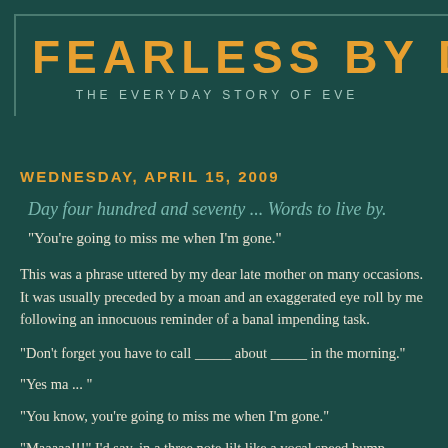FEARLESS BY D
THE EVERYDAY STORY OF EVE
WEDNESDAY, APRIL 15, 2009
Day four hundred and seventy ... Words to live by.
"You're going to miss me when I'm gone."
This was a phrase uttered by my dear late mother on many occasions. It was usually preceded by a moan and an exaggerated eye roll by me following an innocuous reminder of a banal impending task.
"Don't forget you have to call _____ about _____ in the morning."
"Yes ma ... "
"You know, you're going to miss me when I'm gone."
"Maaaaa!!!" I'd say, in a three note lilt like a vocal speed bump